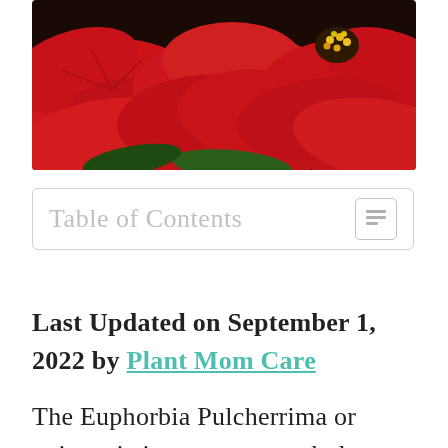[Figure (photo): Close-up photograph of bright red poinsettia flowers (Euphorbia Pulcherrima) with yellow-green centers, dark background]
Table of Contents
Last Updated on September 1, 2022 by Plant Mom Care
The Euphorbia Pulcherrima or poinsettia is an ornamental plant species belonging to the diverse Euphorbiaceae family